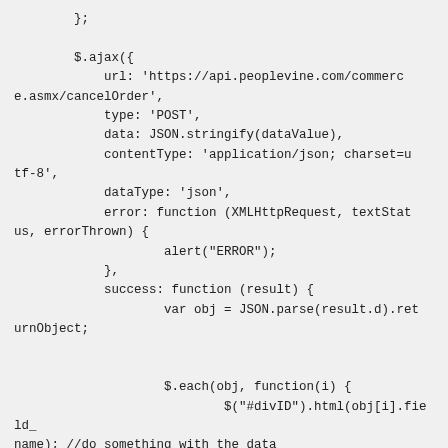};

        $.ajax({
            url: 'https://api.peoplevine.com/commerce.asmx/cancelOrder',
            type: 'POST',
            data: JSON.stringify(dataValue),
            contentType: 'application/json; charset=utf-8',
            dataType: 'json',
            error: function (XMLHttpRequest, textStatus, errorThrown) {
                    alert("ERROR");
            },
            success: function (result) {
                    var obj = JSON.parse(result.d).returnObject;


                    $.each(obj, function(i) {
                            $("#divID").html(obj[i].field_name); //do something with the data
                    })
            }
        })